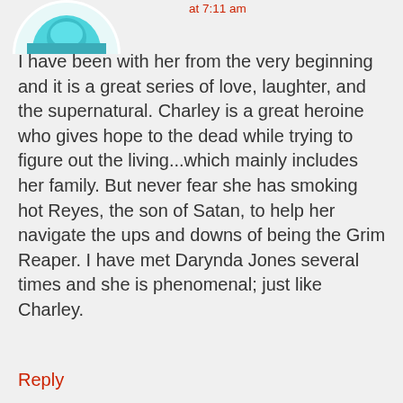[Figure (illustration): Partial circular avatar image showing a teal/turquoise colored profile picture, cropped at top of page]
at 7:11 am
I have been with her from the very beginning and it is a great series of love, laughter, and the supernatural. Charley is a great heroine who gives hope to the dead while trying to figure out the living...which mainly includes her family. But never fear she has smoking hot Reyes, the son of Satan, to help her navigate the ups and downs of being the Grim Reaper. I have met Darynda Jones several times and she is phenomenal; just like Charley.
Reply